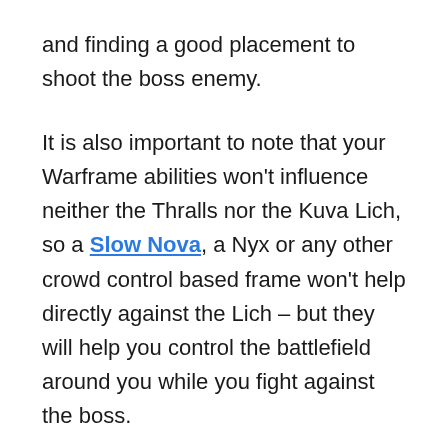and finding a good placement to shoot the boss enemy.
It is also important to note that your Warframe abilities won't influence neither the Thralls nor the Kuva Lich, so a Slow Nova, a Nyx or any other crowd control based frame won't help directly against the Lich – but they will help you control the battlefield around you while you fight against the boss.